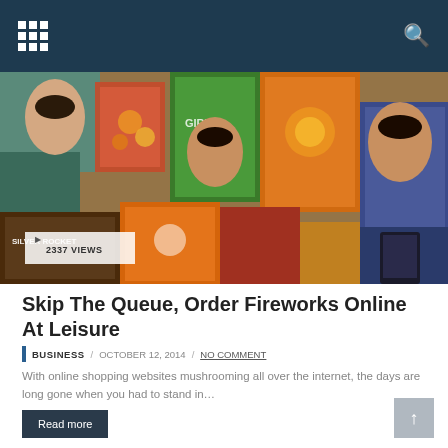Navigation bar with grid menu icon and search icon
[Figure (photo): Close-up photo of colorful fireworks product boxes stacked at a market stall, including brands like 'Silver Rocket' and 'Girls'. A badge shows '2337 VIEWS'.]
Skip The Queue, Order Fireworks Online At Leisure
BUSINESS / OCTOBER 12, 2014 / NO COMMENT
With online shopping websites mushrooming all over the internet, the days are long gone when you had to stand in…
Read more